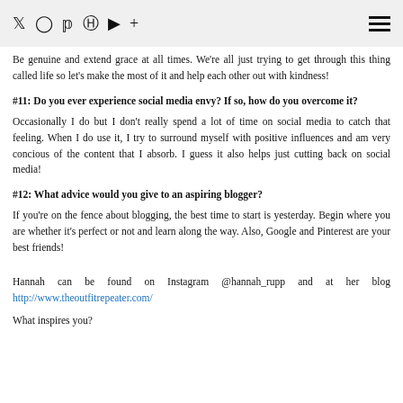Social media icons navigation bar
Be genuine and extend grace at all times. We're all just trying to get through this thing called life so let's make the most of it and help each other out with kindness!
#11: Do you ever experience social media envy? If so, how do you overcome it?
Occasionally I do but I don't really spend a lot of time on social media to catch that feeling. When I do use it, I try to surround myself with positive influences and am very concious of the content that I absorb. I guess it also helps just cutting back on social media!
#12: What advice would you give to an aspiring blogger?
If you're on the fence about blogging, the best time to start is yesterday. Begin where you are whether it's perfect or not and learn along the way. Also, Google and Pinterest are your best friends!
Hannah can be found on Instagram @hannah_rupp and at her blog http://www.theoutfitrepeater.com/
What inspires you?